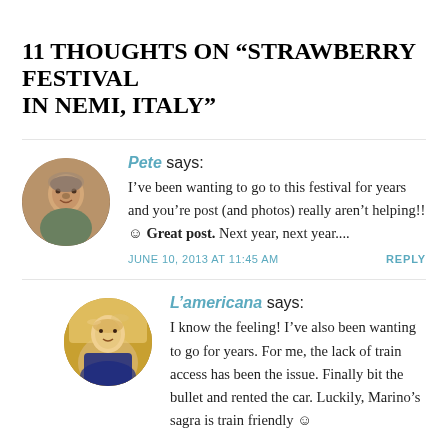11 THOUGHTS ON "STRAWBERRY FESTIVAL IN NEMI, ITALY"
Pete says: I've been wanting to go to this festival for years and you're post (and photos) really aren't helping!! 🙂 Great post. Next year, next year....
JUNE 10, 2013 AT 11:45 AM   REPLY
L'americana says: I know the feeling! I've also been wanting to go for years. For me, the lack of train access has been the issue. Finally bit the bullet and rented the car. Luckily, Marino's sagra is train friendly 🙂